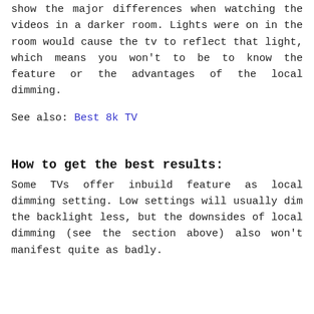show the major differences when watching the videos in a darker room. Lights were on in the room would cause the tv to reflect that light, which means you won't to be to know the feature or the advantages of the local dimming.
See also: Best 8k TV
How to get the best results:
Some TVs offer inbuild feature as local dimming setting. Low settings will usually dim the backlight less, but the downsides of local dimming (see the section above) also won't manifest quite as badly.